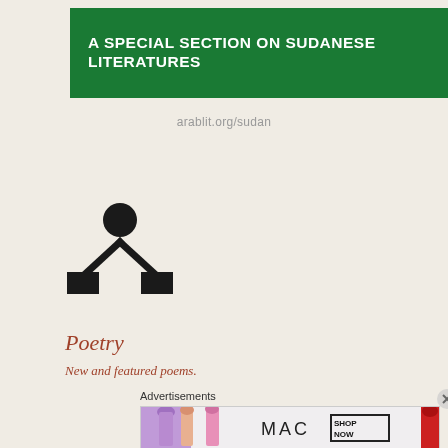A SPECIAL SECTION ON SUDANESE LITERATURES
arablit.org/sudan
[Figure (illustration): A stick-figure-like icon showing a central circle (head) with arms extending to two square blocks on the lower left and lower right, resembling a network or person icon]
Poetry
New and featured poems.
Advertisements
[Figure (photo): MAC cosmetics advertisement banner showing lipsticks in purple, peach, and pink colors with MAC logo text and a SHOP NOW button box]